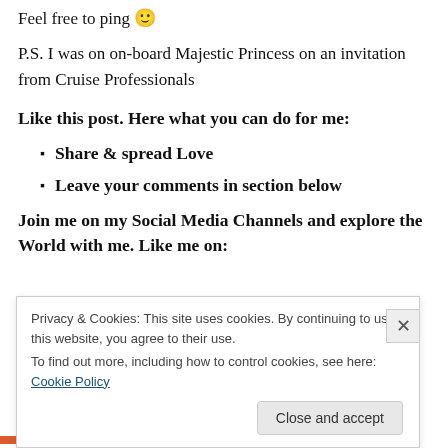Feel free to ping 🙂
P.S. I was on on-board Majestic Princess on an invitation from Cruise Professionals
Like this post. Here what you can do for me:
Share & spread Love
Leave your comments in section below
Join me on my Social Media Channels and explore the World with me. Like me on:
Privacy & Cookies: This site uses cookies. By continuing to use this website, you agree to their use.
To find out more, including how to control cookies, see here: Cookie Policy